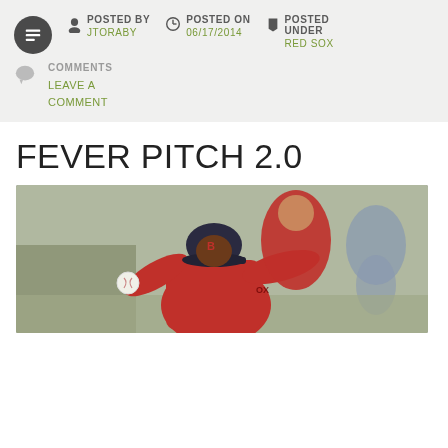POSTED BY JTORABY | POSTED ON 06/17/2014 | POSTED UNDER RED SOX
COMMENTS LEAVE A COMMENT
FEVER PITCH 2.0
[Figure (photo): A baseball pitcher in a red Boston Red Sox uniform and dark cap winding up to throw a ball, with another player in red visible behind, and a blurred background.]